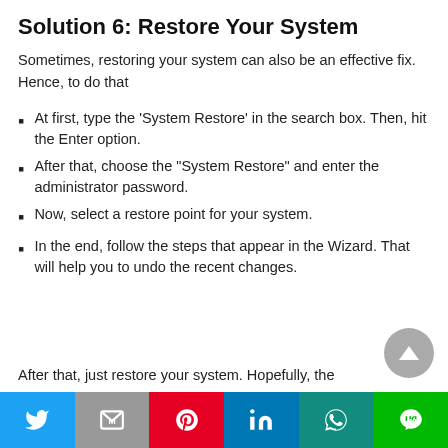Solution 6: Restore Your System
Sometimes, restoring your system can also be an effective fix. Hence, to do that
At first, type the ‘System Restore’ in the search box. Then, hit the Enter option.
After that, choose the “System Restore” and enter the administrator password.
Now, select a restore point for your system.
In the end, follow the steps that appear in the Wizard. That will help you to undo the recent changes.
After that, just restore your system. Hopefully, the